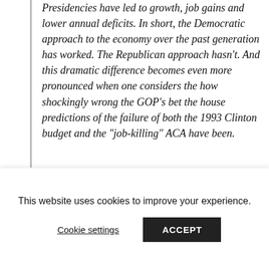Presidencies have led to growth, job gains and lower annual deficits. In short, the Democratic approach to the economy over the past generation has worked. The Republican approach hasn't. And this dramatic difference becomes even more pronounced when one considers the how shockingly wrong the GOP's bet the house predictions of the failure of both the 1993 Clinton budget and the "job-killing" ACA have been.
[Figure (photo): A partially visible photograph with a gray background, appears to show a person or scene, cropped at the bottom of the page.]
This website uses cookies to improve your experience.
Cookie settings    ACCEPT